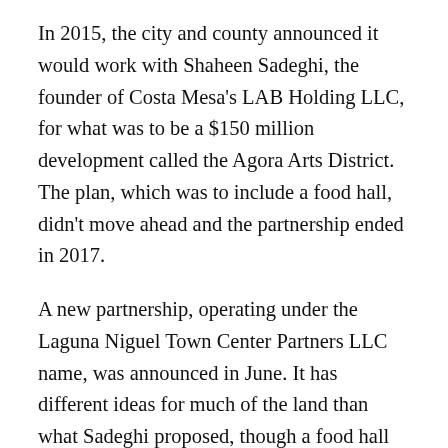In 2015, the city and county announced it would work with Shaheen Sadeghi, the founder of Costa Mesa's LAB Holding LLC, for what was to be a $150 million development called the Agora Arts District. The plan, which was to include a food hall, didn't move ahead and the partnership ended in 2017.
A new partnership, operating under the Laguna Niguel Town Center Partners LLC name, was announced in June. It has different ideas for much of the land than what Sadeghi proposed, though a food hall concept is still expected to be included.
Burnham Ward's partner in the project is Irvine's Sares Regis Group, an industrial and apartment